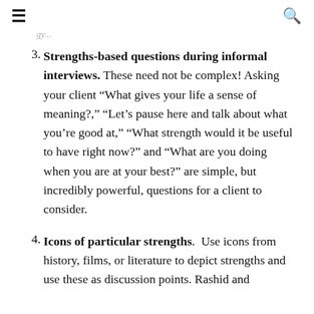≡  🔍
...gy...
3. Strengths-based questions during informal interviews. These need not be complex! Asking your client “What gives your life a sense of meaning?,” “Let’s pause here and talk about what you’re good at,” “What strength would it be useful to have right now?” and “What are you doing when you are at your best?” are simple, but incredibly powerful, questions for a client to consider.
4. Icons of particular strengths.  Use icons from history, films, or literature to depict strengths and use these as discussion points. Rashid and